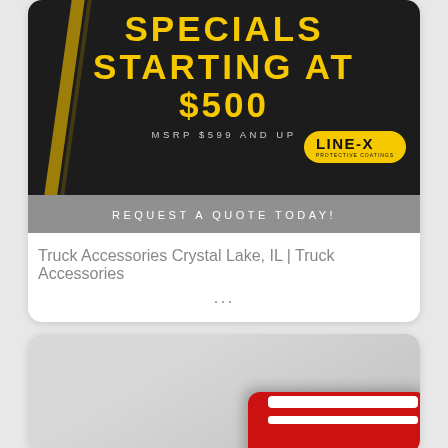[Figure (photo): LINE-X truck bed coating advertisement showing a dark truck with yellow stripe, bold yellow text reading 'SPECIALS STARTING AT $500', subtitle 'MSRP $599 AND UP', LINE-X logo badge, and 'REQUEST A QUOTE TODAY!' banner at bottom.]
Truck Accessories Crystal Lake, IL | Truck Accessories
...
[Figure (photo): Bottom portion of a card showing a red vehicle component (appears to be a red truck topper or accessory) on a light gray background, partially visible.]